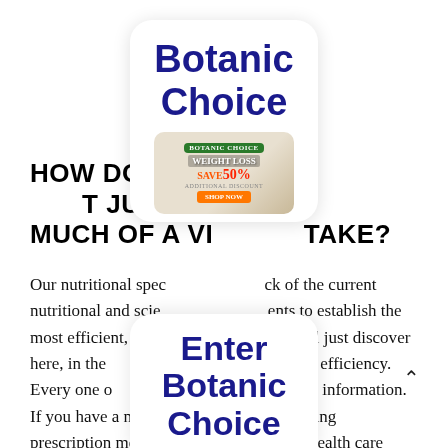[Figure (other): Popup overlay card with 'Botanic Choice' text in large dark blue bold font and a weight loss advertisement image (Botanic Choice Weight Loss Save 50%)]
HOW DO I UNDERSTAND JUST HOW MUCH OF A VITAMIN TO TAKE?
Our nutritional specialists keep track of the current nutritional and scientific developments to establish the most efficient, potent formulas you will just discover here, in the doses developed to enhance efficiency. Every one of our items has Suggested Use information. If you have a medical condition or are taking prescription medication, please ask your health care expert regarding whether it is suitable for you. Remember, you need to take supplements as directed in order to achieve ideal results. Supplements require
[Figure (other): Popup overlay card at bottom with 'Enter Botanic Choice' text in large dark blue bold font, partially visible with a caret/up arrow]